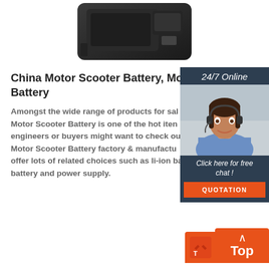[Figure (photo): Product photo of a dark-colored motor scooter battery device, partially cropped at top]
China Motor Scooter Battery, Motor Scooter Battery
Amongst the wide range of products for sale choice, Motor Scooter Battery is one of the hot items. Design engineers or buyers might want to check out various Motor Scooter Battery factory & manufacturers, who offer lots of related choices such as li-ion battery, battery and power supply.
[Figure (photo): 24/7 Online chat widget with a photo of a female customer service representative wearing a headset, and a QUOTATION button]
[Figure (other): Back to Top button with an upward arrow and a small icon in red/orange]